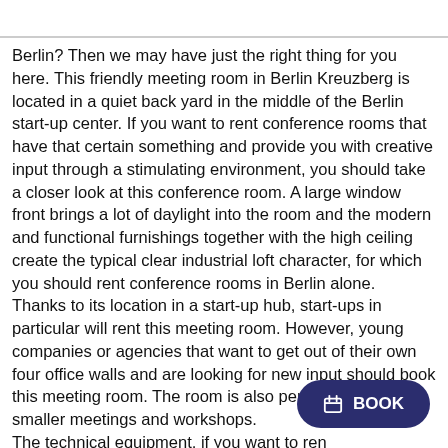Berlin? Then we may have just the right thing for you here. This friendly meeting room in Berlin Kreuzberg is located in a quiet back yard in the middle of the Berlin start-up center. If you want to rent conference rooms that have that certain something and provide you with creative input through a stimulating environment, you should take a closer look at this conference room. A large window front brings a lot of daylight into the room and the modern and functional furnishings together with the high ceiling create the typical clear industrial loft character, for which you should rent conference rooms in Berlin alone.
Thanks to its location in a start-up hub, start-ups in particular will rent this meeting room. However, young companies or agencies that want to get out of their own four office walls and are looking for new input should book this meeting room. The room is also perfectly suitable for smaller meetings and workshops.
The technical equipment, if you want to rent a meeting room in Kreuzberg, is in no way inferior to that of other